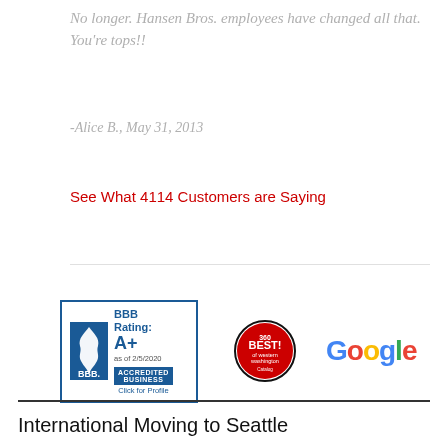No longer. Hansen Bros. employees have changed all that. You're tops!!
-Alice B., May 31, 2013
See What 4114 Customers are Saying
[Figure (logo): BBB Accredited Business badge with A+ rating as of 2/5/2020 and Click for Profile text]
[Figure (logo): Best of Western Washington circular badge/seal]
[Figure (logo): Google logo in multicolor]
International Moving to Seattle